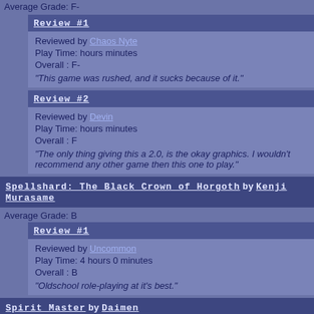Average Grade: F-
Review #1
Reviewed by Chaos Nyte
Play Time: hours minutes
Overall : F-
"This game was rushed, and it sucks because of it."
Review #2
Reviewed by Devin
Play Time: hours minutes
Overall : F
"The only thing giving this a 2.0, is the okay graphics. I wouldn't recommend any other game then this one to play."
Spellshard: The Black Crown of Horgoth by Kenji Murasame
Average Grade: B
Review #1
Reviewed by Uncommon
Play Time: 4 hours 0 minutes
Overall : B
"Oldschool role-playing at it's best."
Spirit Master by Daimen
Average Grade: D-
Review #1